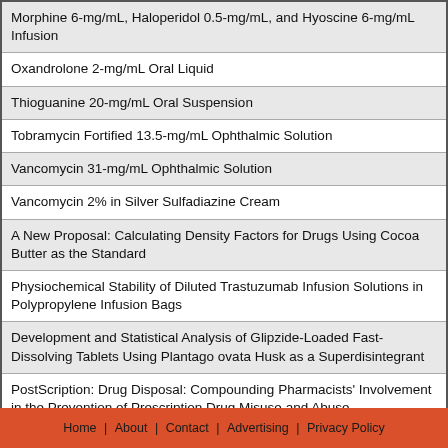| Morphine 6-mg/mL, Haloperidol 0.5-mg/mL, and Hyoscine 6-mg/mL Infusion |
| Oxandrolone 2-mg/mL Oral Liquid |
| Thioguanine 20-mg/mL Oral Suspension |
| Tobramycin Fortified 13.5-mg/mL Ophthalmic Solution |
| Vancomycin 31-mg/mL Ophthalmic Solution |
| Vancomycin 2% in Silver Sulfadiazine Cream |
| A New Proposal: Calculating Density Factors for Drugs Using Cocoa Butter as the Standard |
| Physiochemical Stability of Diluted Trastuzumab Infusion Solutions in Polypropylene Infusion Bags |
| Development and Statistical Analysis of Glipzide-Loaded Fast-Dissolving Tablets Using Plantago ovata Husk as a Superdisintegrant |
| PostScription: Drug Disposal: Compounding Pharmacists' Involvement in the Prevention of Prescription Drug Misuse and Abuse |
Home | About | Contact | Advertising | Privacy Policy